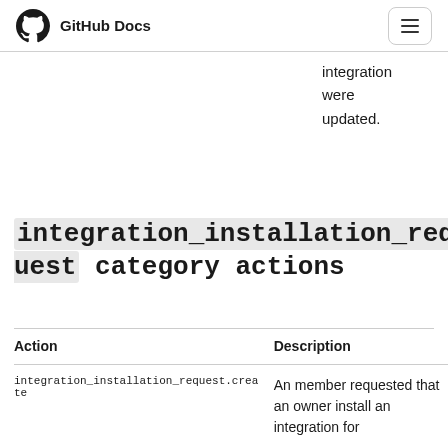GitHub Docs
integration were updated.
integration_installation_request category actions
| Action | Description |
| --- | --- |
| integration_installation_request.create | An member requested that an owner install an integration for |